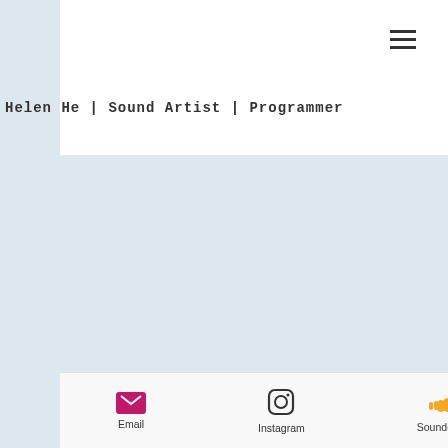yhe@oberlin.edu
Helen He | Sound Artist | Programmer
With multi-media compositions infused with
Email  Instagram  Soundcloud  LinkedIn